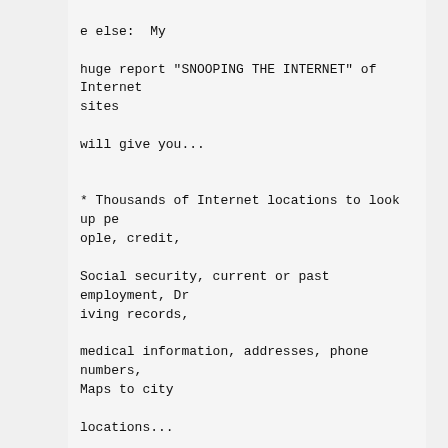e else:  My

huge report "SNOOPING THE INTERNET" of Internet sites

will give you...


* Thousands of Internet locations to look up people, credit,

Social security, current or past employment, Driving records,

medical information, addresses, phone numbers, Maps to city

locations...



Every day the media (television, radio, and newspapers) are

full of stories about PERSONAL INFORMATION bein
* Thousands of Internet locations to look up people, credit,